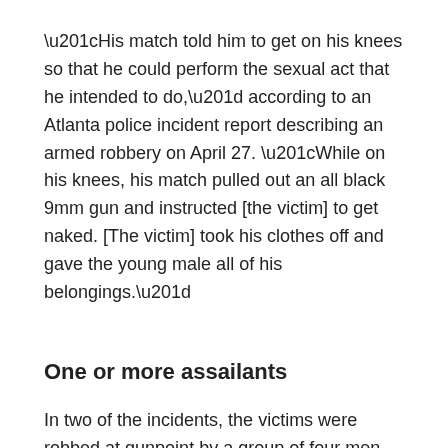“His match told him to get on his knees so that he could perform the sexual act that he intended to do,” according to an Atlanta police incident report describing an armed robbery on April 27. “While on his knees, his match pulled out an all black 9mm gun and instructed [the victim] to get naked. [The victim] took his clothes off and gave the young male all of his belongings.”
One or more assailants
In two of the incidents, the victims were robbed at gunpoint by a group of four men that appeared after a fifth man guided the victims away from their vehicles.
On April 28, a 23-year-old man was robbed at gunpoint when